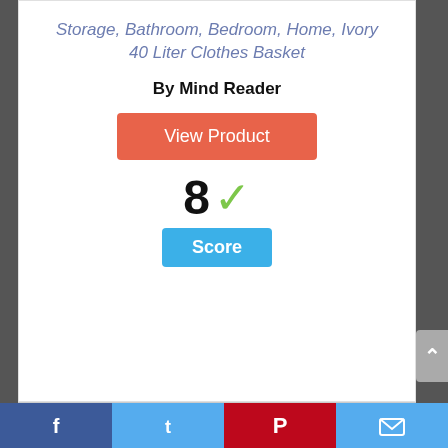Storage, Bathroom, Bedroom, Home, Ivory 40 Liter Clothes Basket
By Mind Reader
View Product
8 ✓ Score
[Figure (infographic): Circle with number 9 inside, blue outline]
[Figure (infographic): Social media share bar with Facebook, Twitter, Pinterest, and Email icons]